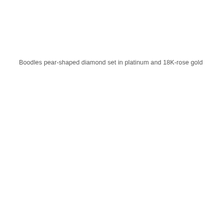Boodles pear-shaped diamond set in platinum and 18K-rose gold